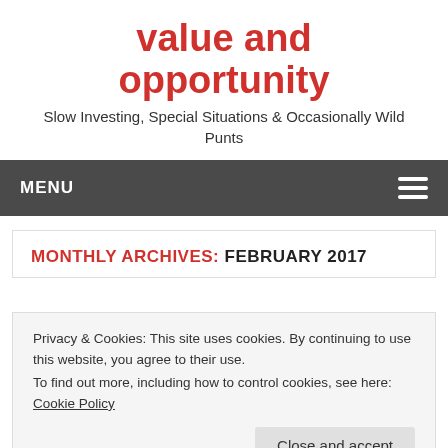value and opportunity
Slow Investing, Special Situations & Occasionally Wild Punts
MENU
MONTHLY ARCHIVES: FEBRUARY 2017
Privacy & Cookies: This site uses cookies. By continuing to use this website, you agree to their use.
To find out more, including how to control cookies, see here: Cookie Policy
Close and accept